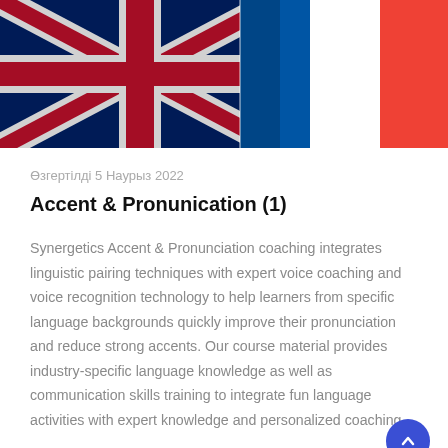[Figure (photo): Overlapping UK Union Jack and French tricolor flags from above, close-up photo.]
Өзгертілді 5 Наурыз 2022
Accent & Pronunication (1)
Synergetics Accent & Pronunciation coaching integrates linguistic pairing techniques with expert voice coaching and voice recognition technology to help learners from specific language backgrounds quickly improve their pronunciation and reduce strong accents. Our course material provides industry-specific language knowledge as well as communication skills training to integrate fun language activities with expert knowledge and personalized coaching.